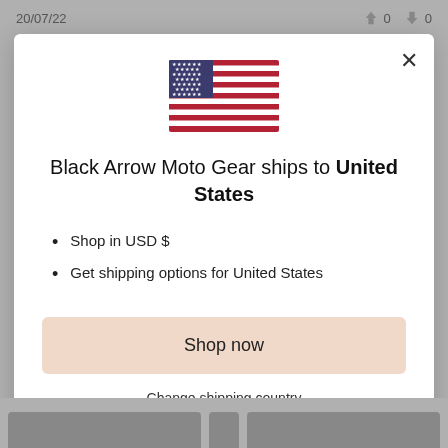20/07/22   👍 0   👎 0
[Figure (illustration): US flag emoji/icon centered in modal]
Black Arrow Moto Gear ships to United States
Shop in USD $
Get shipping options for United States
Shop now
Change shipping country